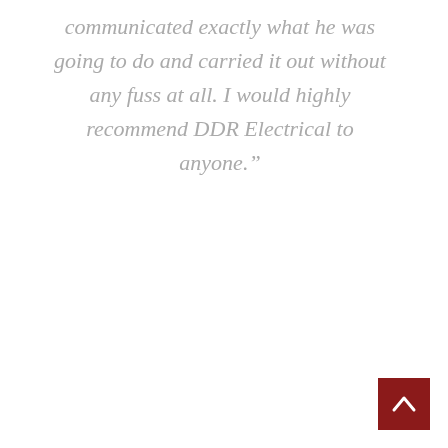communicated exactly what he was going to do and carried it out without any fuss at all. I would highly recommend DDR Electrical to anyone."
[Figure (other): Red square button with a white upward-pointing chevron/arrow, positioned in the bottom-right corner of the page.]